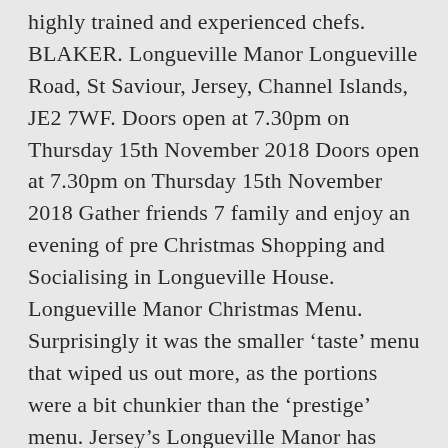highly trained and experienced chefs. BLAKER. Longueville Manor Longueville Road, St Saviour, Jersey, Channel Islands, JE2 7WF. Doors open at 7.30pm on Thursday 15th November 2018 Doors open at 7.30pm on Thursday 15th November 2018 Gather friends 7 family and enjoy an evening of pre Christmas Shopping and Socialising in Longueville House. Longueville Manor Christmas Menu. Surprisingly it was the smaller ‘taste’ menu that wiped us out more, as the portions were a bit chunkier than the ‘prestige’ menu. Jersey’s Longueville Manor has been reaffirmed as the highest rated hotel in the Channel Islands in the AA Restaurant Guide 2017. From the moment we arrived the care , attention to